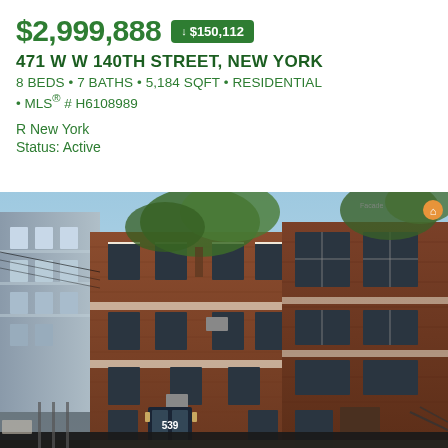$2,999,888  ↓ $150,112
471 W W 140TH STREET, NEW YORK
8 BEDS • 7 BATHS • 5,184 SQFT • RESIDENTIAL • MLS® # H6108989
R New York
Status: Active
[Figure (photo): Street-level photo looking upward at a 4-story red brick apartment building at 539, flanked by similar brick buildings and trees, with a dark blue entry door visible at ground level.]